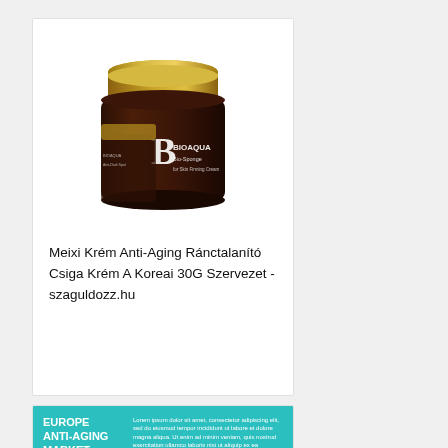[Figure (photo): BIOAQUA snail cream jar with dark brown body and gold lid]
Meixi Krém Anti-Aging Ránctalanító Csiga Krém A Koreai 30G Szervezet - szaguldozz.hu
[Figure (infographic): Europe Anti-Aging Market teal banner with title text and body text columns]